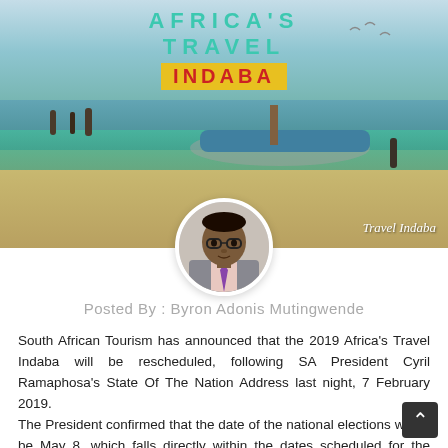[Figure (photo): Africa's Travel Indaba promotional banner image showing a beach scene with a boat, people, and ocean. Overlaid text reads AFRICA'S TRAVEL INDABA in teal and red on yellow. Watermark says Travel Indaba.]
[Figure (photo): Circular avatar portrait of a man wearing glasses and a suit with a tie, identified as Byron Adonis Mutingwende.]
Posted By : Byron Adonis Mutingwende
South African Tourism has announced that the 2019 Africa's Travel Indaba will be rescheduled, following SA President Cyril Ramaphosa's State Of The Nation Address last night, 7 February 2019.
The President confirmed that the date of the national elections would be May 8, which falls directly within the dates scheduled for the Indaba: May 6 to 9.